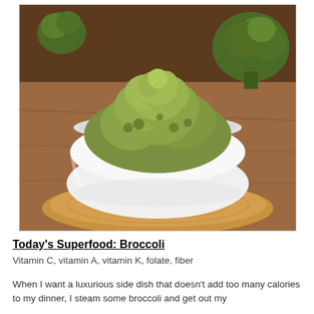[Figure (photo): A white ceramic bowl filled with green broccoli puree or mashed broccoli, placed on a wooden cutting board or log slice. Fresh broccoli florets are visible in the background.]
Today's Superfood: Broccoli
Vitamin C, vitamin A, vitamin K, folate, fiber
When I want a luxurious side dish that doesn't add too many calories to my dinner, I steam some broccoli and get out my